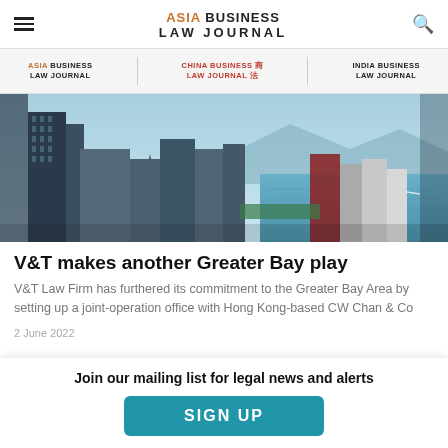ASIA BUSINESS LAW JOURNAL
ASIA BUSINESS LAW JOURNAL | CHINA BUSINESS LAW JOURNAL | INDIA BUSINESS LAW JOURNAL
[Figure (photo): Aerial view of Hong Kong cityscape and harbor with skyscrapers and blue water]
V&T makes another Greater Bay play
V&T Law Firm has furthered its commitment to the Greater Bay Area by setting up a joint-operation office with Hong Kong-based CW Chan & Co
2 June 2022
Join our mailing list for legal news and alerts
SIGN UP